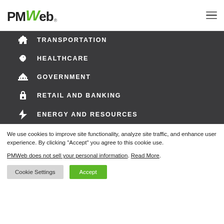[Figure (logo): PMWeb logo with green italic W]
TRANSPORTATION
HEALTHCARE
GOVERNMENT
RETAIL AND BANKING
ENERGY AND RESOURCES
We use cookies to improve site functionality, analyze site traffic, and enhance user experience. By clicking "Accept" you agree to this cookie use.
PMWWeb does not sell your personal information. Read More.
Cookie Settings | Accept